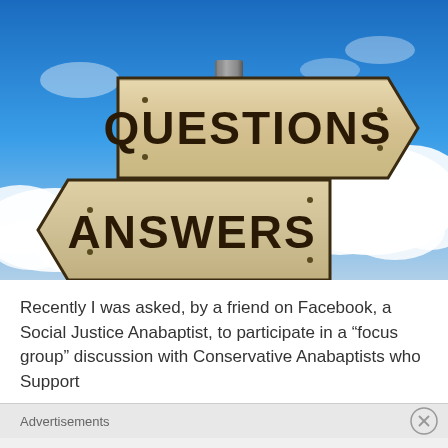[Figure (photo): Outdoor photo of two wooden directional arrow signs on a post against a blue sky with clouds. The top sign points right and reads 'QUESTIONS'. The bottom sign points left and reads 'ANSWERS'. Both signs are tan/wood-colored with dark brown lettering.]
Recently I was asked, by a friend on Facebook, a Social Justice Anabaptist, to participate in a "focus group" discussion with Conservative Anabaptists who Support
Advertisements